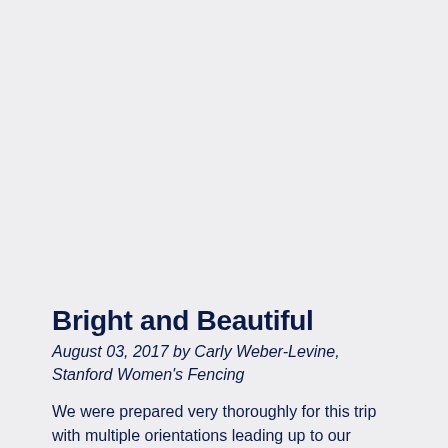Bright and Beautiful
August 03, 2017 by Carly Weber-Levine, Stanford Women's Fencing
We were prepared very thoroughly for this trip with multiple orientations leading up to our